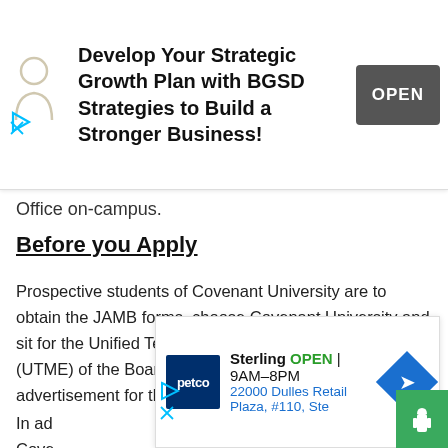[Figure (infographic): Advertisement banner at top: icon of person, text 'Develop Your Strategic Growth Plan with BGSD Strategies to Build a Stronger Business!', dark gray OPEN button, play/close icons bottom left]
…pay your way to the Admissions Office on-campus.
Before you Apply
Prospective students of Covenant University are to obtain the JAMB forms, choose Covenant University and sit for the Unified Tertiary Matriculation Examination (UTME) of the Board as prescribed in the relevant advertisement for the 2022/2023 admission exercise.
In ad… Cove… able onlin…
[Figure (infographic): Petco advertisement overlay: Petco logo, Sterling location, OPEN 9AM-8PM, 22000 Dulles Retail Plaza #110, Ste, navigation diamond arrow icon, green widget with hand icon bottom right]